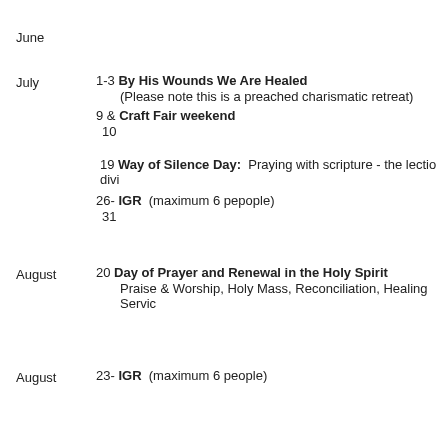June
July  1-3 By His Wounds We Are Healed (Please note this is a preached charismatic retreat)
9 & Craft Fair weekend
10
19 Way of Silence Day: Praying with scripture - the lectio divi…
26- IGR (maximum 6 pepople)
31
August  20 Day of Prayer and Renewal in the Holy Spirit
Praise & Worship, Holy Mass, Reconciliation, Healing Servic…
August  23- IGR (maximum 6 people)